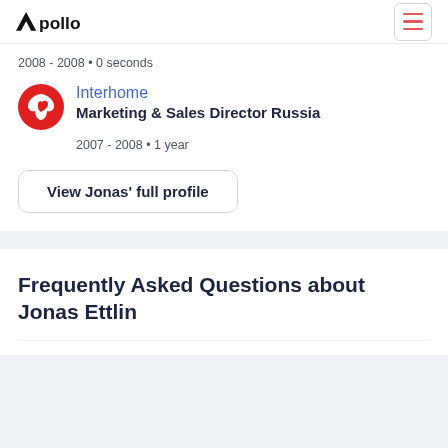Apollo (logo) | hamburger menu
2008 - 2008 • 0 seconds
[Figure (logo): Interhome company logo: red circle with white bird/dove shape]
Interhome
Marketing & Sales Director Russia
2007 - 2008 • 1 year
View Jonas' full profile
Frequently Asked Questions about Jonas Ettlin